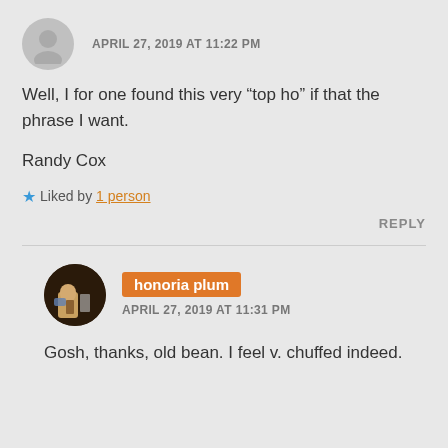APRIL 27, 2019 AT 11:22 PM
Well, I for one found this very “top ho” if that the phrase I want.
Randy Cox
★ Liked by 1 person
REPLY
honoria plum
APRIL 27, 2019 AT 11:31 PM
Gosh, thanks, old bean. I feel v. chuffed indeed.